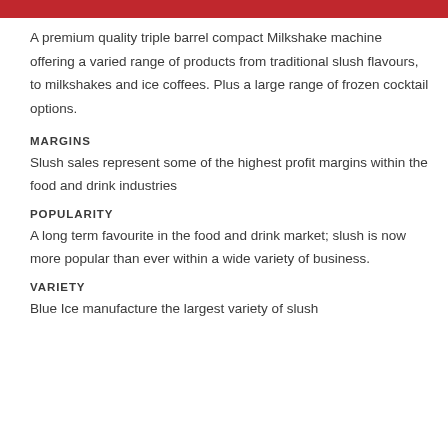A premium quality triple barrel compact Milkshake machine offering a varied range of products from traditional slush flavours, to milkshakes and ice coffees. Plus a large range of frozen cocktail options.
MARGINS
Slush sales represent some of the highest profit margins within the food and drink industries
POPULARITY
A long term favourite in the food and drink market; slush is now more popular than ever within a wide variety of business.
VARIETY
Blue Ice manufacture the largest variety of slush